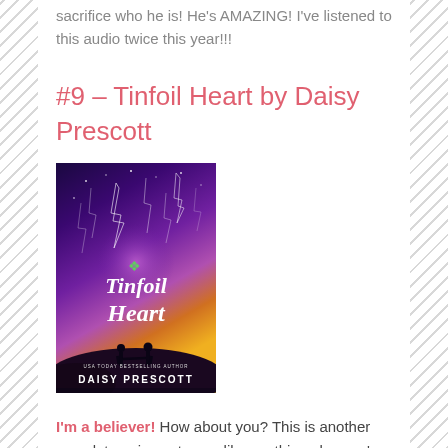sacrifice who he is! He's AMAZING! I've listened to this audio twice this year!!!
#9 – Tinfoil Heart by Daisy Prescott
[Figure (photo): Book cover of 'Tinfoil Heart' by Daisy Prescott. Purple and orange gradient background with two silhouetted figures holding hands under a starry sky with lightning-like streaks. Text reads 'Tinfoil Heart' in white script, 'USA Today Bestselling Author' and 'DAISY PRESCOTT' at the bottom.]
I'm a believer! How about you? This is another complete unique story unlike anything else you've read. And, it's thoroughly enjoyable! This